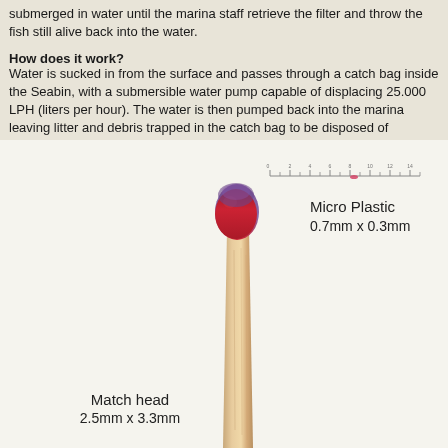submerged in water until the marina staff retrieve the filter and throw the fish still alive back into the water.
How does it work?
Water is sucked in from the surface and passes through a catch bag inside the Seabin, with a submersible water pump capable of displacing 25.000 LPH (liters per hour). The water is then pumped back into the marina leaving litter and debris trapped in the catch bag to be disposed of properly.
[Figure (photo): A macro photograph of a matchstick showing the red match head compared to a tiny micro plastic particle visible on a ruler scale beside it. Labels indicate 'Micro Plastic 0.7mm x 0.3mm' and 'Match head 2.5mm x 3.3mm'.]